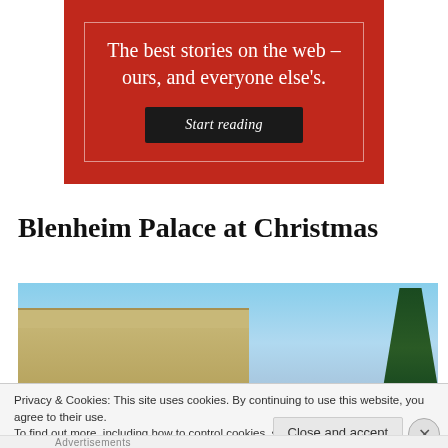[Figure (other): Red promotional banner with white serif text reading 'The best stories on the web – ours, and everyone else's.' with a dark 'Start reading' button below, inside a thin border on a dark red background.]
Blenheim Palace at Christmas
[Figure (photo): Partial photo of Blenheim Palace exterior showing stone architecture against a blue sky with a dark evergreen tree on the right side.]
Privacy & Cookies: This site uses cookies. By continuing to use this website, you agree to their use.
To find out more, including how to control cookies, see here: Cookie Policy
Close and accept
Advertisements